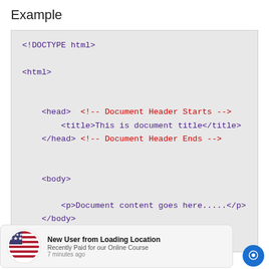Example
[Figure (screenshot): Code block showing a basic HTML document structure with DOCTYPE, html, head, title, and body tags. Comments in red indicate Document Header Starts and Ends. Tags are shown in dark purple/blue, comment text in red, on a light grey background.]
New User from Loading Location
Recently Paid for our Online Course
7 minutes ago
Document content goes here......